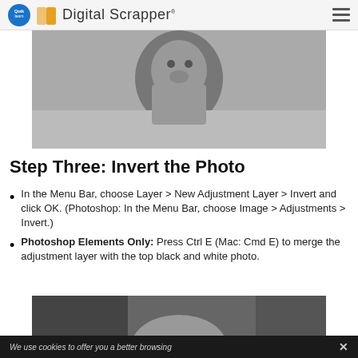Digital Scrapper
[Figure (photo): Black and white close-up photo of a young toddler girl looking at the camera, wearing a tank top with buttons]
Step Three: Invert the Photo
In the Menu Bar, choose Layer > New Adjustment Layer > Invert and click OK. (Photoshop: In the Menu Bar, choose Image > Adjustments > Invert.)
Photoshop Elements Only: Press Ctrl E (Mac: Cmd E) to merge the adjustment layer with the top black and white photo.
[Figure (photo): Black and white photo of a child, partially visible at the bottom of the page]
We use cookies to offer you a better browsing